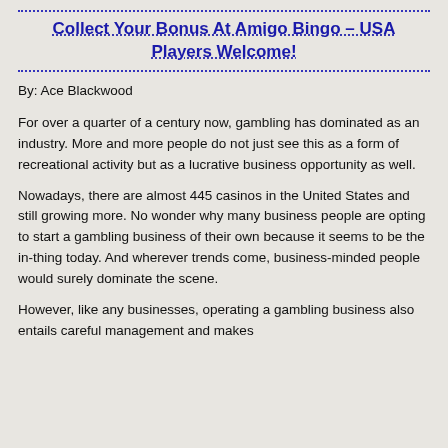Collect Your Bonus At Amigo Bingo – USA Players Welcome!
By: Ace Blackwood
For over a quarter of a century now, gambling has dominated as an industry. More and more people do not just see this as a form of recreational activity but as a lucrative business opportunity as well.
Nowadays, there are almost 445 casinos in the United States and still growing more. No wonder why many business people are opting to start a gambling business of their own because it seems to be the in-thing today. And wherever trends come, business-minded people would surely dominate the scene.
However, like any businesses, operating a gambling business also entails careful management and makes...